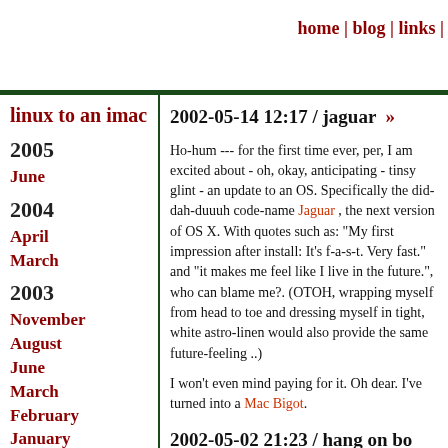home | blog | links |
linux to an imac
2005
June
2004
April
March
2003
November
August
June
March
February
January
2002-05-14 12:17 / jaguar  »
Ho-hum --- for the first time ever, per, I am excited about - oh, okay, anticipating - tinsy glint - an update to an OS. Specifically the did-dah-duuuh code-name Jaguar , the next version of OS X. With quotes such as: "My first impression after install: It's f-a-s-t. Very fast." and "it makes me feel like I live in the future.", who can blame me?. (OTOH, wrapping myself from head to toe and dressing myself in tight, white astro-linen would also provide the same future-feeling ..)
I won't even mind paying for it. Oh dear. I've turned into a Mac Bigot.
2002-05-02 21:23 / hang on bo
Ooh - I managed to get the OS to ha